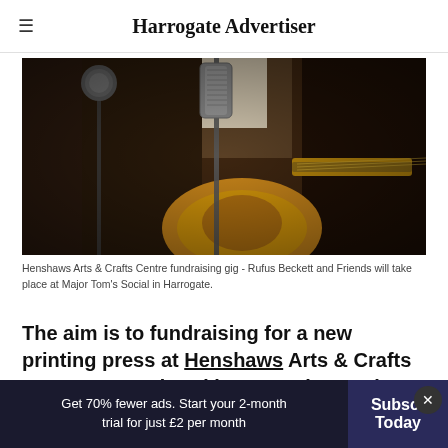Harrogate Advertiser
[Figure (photo): A musician with a guitar and vintage microphone at what appears to be a recording session or live performance. The image is dark and moody, showing microphone stands and a guitar body in the foreground.]
Henshaws Arts & Crafts Centre fundraising gig - Rufus Beckett and Friends will take place at Major Tom's Social in Harrogate.
The aim is to fundraising for a new printing press at Henshaws Arts & Crafts Centre at Bond End in Knaresborough.
Get 70% fewer ads. Start your 2-month trial for just £2 per month